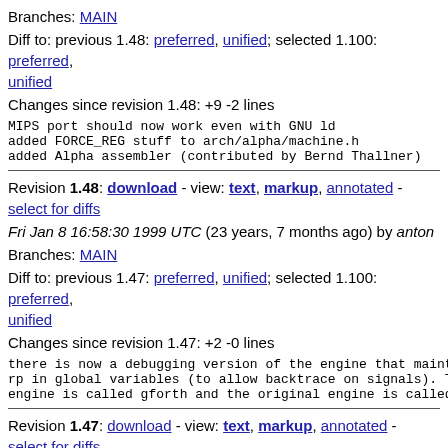Branches: MAIN
Diff to: previous 1.48: preferred, unified; selected 1.100: preferred, unified
Changes since revision 1.48: +9 -2 lines
MIPS port should now work even with GNU ld
added FORCE_REG stuff to arch/alpha/machine.h
added Alpha assembler (contributed by Bernd Thallner)
Revision 1.48: download - view: text, markup, annotated - select for diffs
Fri Jan 8 16:58:30 1999 UTC (23 years, 7 months ago) by anton
Branches: MAIN
Diff to: previous 1.47: preferred, unified; selected 1.100: preferred, unified
Changes since revision 1.47: +2 -0 lines
there is now a debugging version of the engine that maint rp in global variables (to allow backtrace on signals). engine is called gforth and the original engine is calle
Revision 1.47: download - view: text, markup, annotated - select for diffs
Fri Jan 1 15:20:36 1999 UTC (23 years, 7 months ago) by anton
Branches: MAIN
Diff to: previous 1.46: preferred, unified; selected 1.100: preferred,